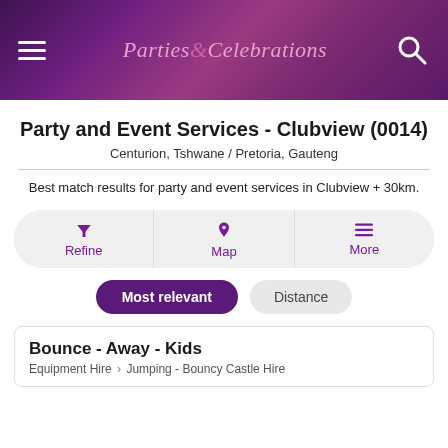Parties & Celebrations
Party and Event Services - Clubview (0014)
Centurion, Tshwane / Pretoria, Gauteng
Best match results for party and event services in Clubview + 30km.
Refine | Map | More
Most relevant | Distance
Bounce - Away - Kids
Equipment Hire > Jumping - Bouncy Castle Hire